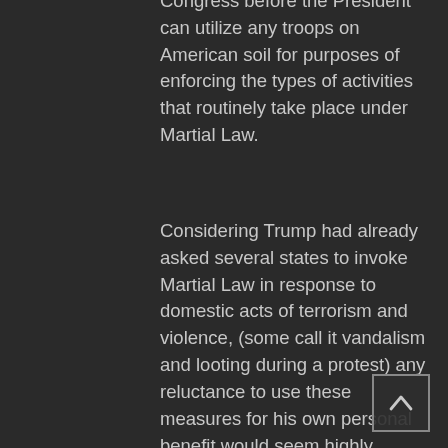Congress before the President can utilize any troops on American soil for purposes of enforcing the types of activities that routinely take place under Martial Law.
Considering Trump had already asked several states to invoke Martial Law in response to domestic acts of terrorism and violence, (some call it vandalism and looting during a protest) any reluctance to use these measures for his own personal benefit would seem highly unlikely at best.
Remember, the imposition of Marital Law, as astonishing as it sounds, the net effect would include the “prize” being the presidential ability to suspend if not an outright cancellation (probably coming